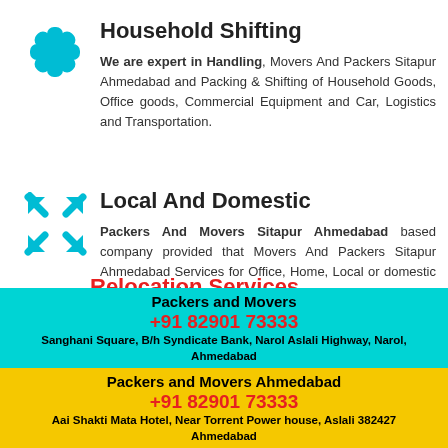Household Shifting
We are expert in Handling, Movers And Packers Sitapur Ahmedabad and Packing & Shifting of Household Goods, Office goods, Commercial Equipment and Car, Logistics and Transportation.
Local And Domestic
Packers And Movers Sitapur Ahmedabad based company provided that Movers And Packers Sitapur Ahmedabad Services for Office, Home, Local or domestic and commercial purposes.
Loading Unloading
In loading and unloading is done carefully by experienced workers. In addition, #PackersMoversSitapur Ahmedabad unpacked all the items from the boxes efficiently & with maximum care...
Relocation Services
Packers and Movers
+91 82901 73333
Sanghani Square, B/h Syndicate Bank, Narol Aslali Highway, Narol, Ahmedabad
Packers and Movers Ahmedabad
+91 82901 73333
Aai Shakti Mata Hotel, Near Torrent Power house, Aslali 382427
Ahmedabad